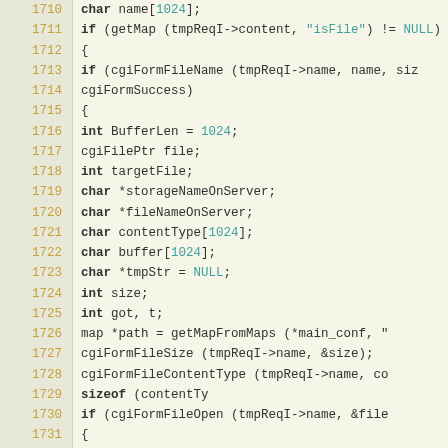[Figure (screenshot): Source code viewer showing C code lines 1710-1736 with line numbers on the left in orange/tan on a beige background, and code on the right with syntax highlighting. Keywords in bold, numeric literals in teal, NULL keyword in teal.]